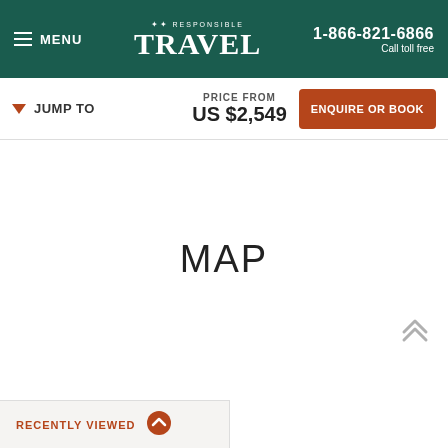≡ MENU  ✦✦ RESPONSIBLE TRAVEL  1-866-821-6866 Call toll free
▼ JUMP TO   PRICE FROM US $2,549   ENQUIRE OR BOOK
MAP
RECENTLY VIEWED